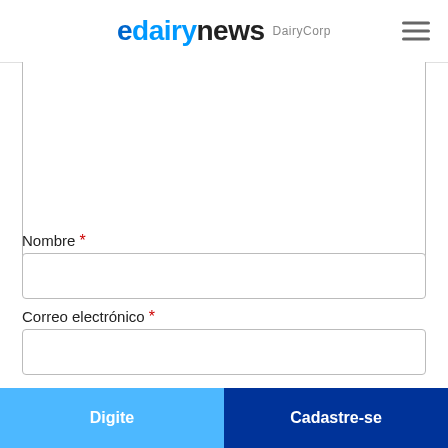[Figure (logo): edairynews DairyCorp logo with hamburger menu icon in top right]
[Figure (screenshot): Partial textarea form field (top cut off), showing empty white text area with resize handle]
Nombre *
[Figure (screenshot): Empty text input field for Nombre]
Correo electrónico *
[Figure (screenshot): Empty text input field for Correo electrónico]
SUBMIT
Digite
Cadastre-se